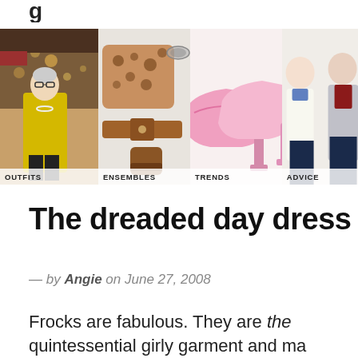[Figure (photo): Navigation strip with four category photos: OUTFITS (woman in yellow coat), ENSEMBLES (leopard sweater outfit flat lay), TRENDS (pink mule heels), ADVICE (two women in white tops)]
The dreaded day dress
— by Angie on June 27, 2008
Frocks are fabulous. They are the quintessential girly garment and ma